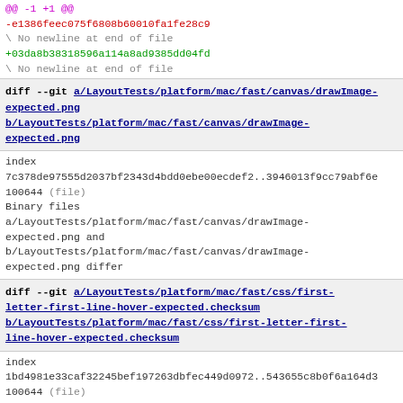@@ -1 +1 @@
-e1386feec075f6808b60010fa1fe28c9
\ No newline at end of file
+03da8b38318596a114a8ad9385dd04fd
\ No newline at end of file
diff --git a/LayoutTests/platform/mac/fast/canvas/drawImage-expected.png b/LayoutTests/platform/mac/fast/canvas/drawImage-expected.png
index 7c378de97555d2037bf2343d4bdd0ebe00ecdef2..3946013f9cc79abf6e
100644 (file)
Binary files a/LayoutTests/platform/mac/fast/canvas/drawImage-expected.png and b/LayoutTests/platform/mac/fast/canvas/drawImage-expected.png differ
diff --git a/LayoutTests/platform/mac/fast/css/first-letter-first-line-hover-expected.checksum b/LayoutTests/platform/mac/fast/css/first-letter-first-line-hover-expected.checksum
index 1bd4981e33caf32245bef197263dbfec449d0972..543655c8b0f6a164d3
100644 (file)
--- a/LayoutTests/platform/mac/fast/css/first-letter-first-l
+++ b/LayoutTests/platform/mac/fast/css/first-letter-first-l
@@ -1 +1 @@
-9e02fc2e065df643a8a507394c13825c
+8d1ad4b61cb649e4d57c8026baea3d89